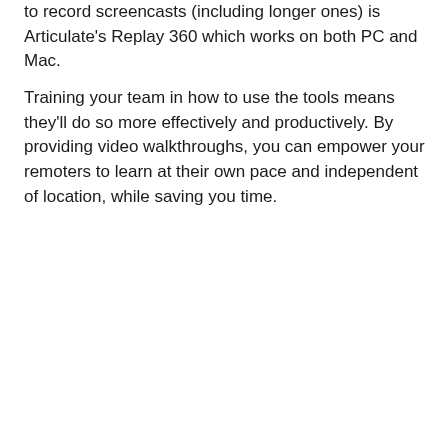to record screencasts (including longer ones) is Articulate's Replay 360 which works on both PC and Mac.
Training your team in how to use the tools means they'll do so more effectively and productively. By providing video walkthroughs, you can empower your remoters to learn at their own pace and independent of location, while saving you time.